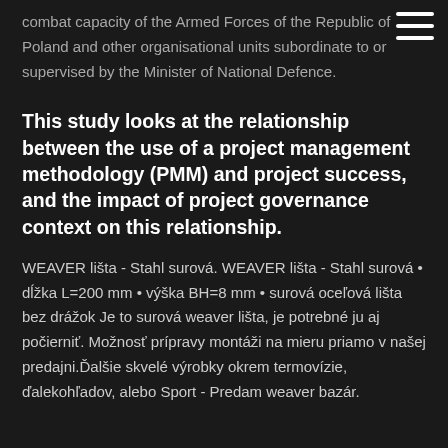combat capacity of the Armed Forces of the Republic of Poland and other organisational units subordinate to or supervised by the Minister of National Defence.
This study looks at the relationship between the use of a project management methodology (PMM) and project success, and the impact of project governance context on this relationship.
WEAVER lišta - Stahl surová. WEAVER lišta - Stahl surová • dĺžka L=200 mm • výška BH=8 mm • surová oceľová lišta bez drážok Je to surová weaver lišta, je potrebné ju aj počierniť. Možnosť prípravy montáži na mieru priamo v našej predajni.Ďalšie skvelé výrobky okrem termovízie, ďalekohľadov, alebo Sport - Predam weaver bazár.